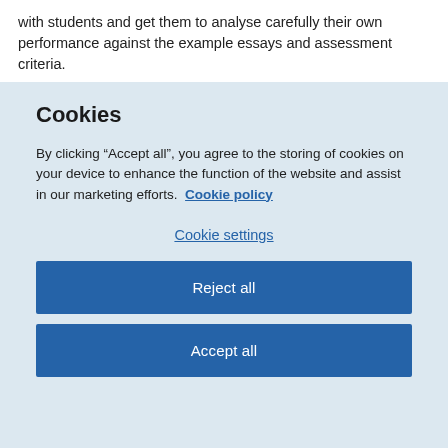with students and get them to analyse carefully their own performance against the example essays and assessment criteria.
Cookies
By clicking “Accept all”, you agree to the storing of cookies on your device to enhance the function of the website and assist in our marketing efforts.  Cookie policy
Cookie settings
Reject all
Accept all